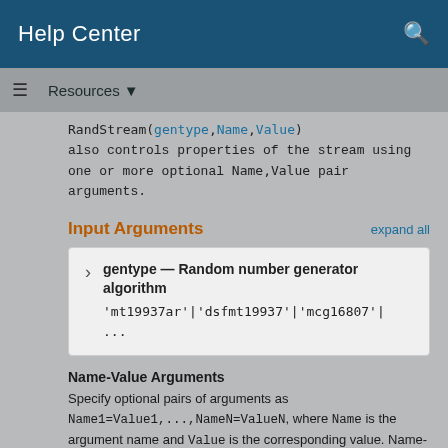Help Center
Resources ▼
RandStream(gentype,Name,Value) also controls properties of the stream using one or more optional Name,Value pair arguments.
Input Arguments
expand all
gentype — Random number generator algorithm 'mt19937ar'|'dsfmt19937'|'mcg16807'|...
Name-Value Arguments
Specify optional pairs of arguments as Name1=Value1,...,NameN=ValueN, where Name is the argument name and Value is the corresponding value. Name-value arguments must appear after other arguments, but the order of the pairs does not matter.
Before R2021a, use commas to separate each name and value,